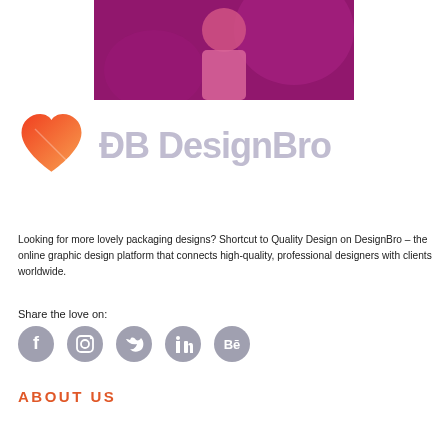[Figure (photo): Person standing with magenta/pink photo filter overlay, cropped portrait style]
[Figure (logo): DesignBro logo with a heart icon (gradient red-orange) and text 'DB DesignBro' in light grey]
Looking for more lovely packaging designs? Shortcut to Quality Design on DesignBro – the online graphic design platform that connects high-quality, professional designers with clients worldwide.
Share the love on:
[Figure (infographic): Social media icons: Facebook, Instagram, Twitter, LinkedIn, Behance — grey circular icons]
ABOUT US